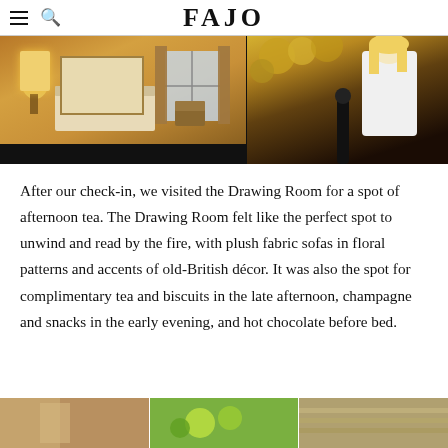FAJO
[Figure (photo): Two photos: left shows a hotel bedroom with warm lighting, bed, and furniture in golden/amber tones; right shows a woman with blonde hair outdoors among autumn foliage]
After our check-in, we visited the Drawing Room for a spot of afternoon tea. The Drawing Room felt like the perfect spot to unwind and read by the fire, with plush fabric sofas in floral patterns and accents of old-British décor. It was also the spot for complimentary tea and biscuits in the late afternoon, champagne and snacks in the early evening, and hot chocolate before bed.
[Figure (photo): Three photos at the bottom of the page: left shows draped fabric/curtains in warm tones, middle shows food items (salad/vegetables), right shows what appears to be food or a textured surface]